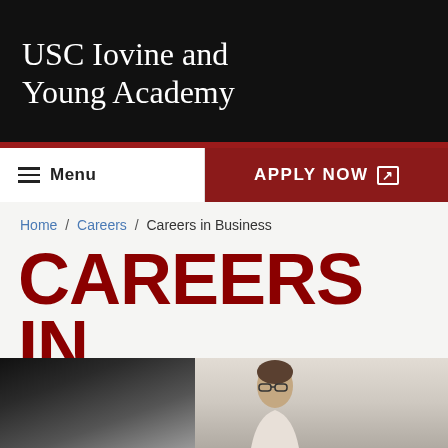USC Iovine and Young Academy
Menu   APPLY NOW
Home / Careers / Careers in Business
CAREERS IN BUSINESS
[Figure (photo): Partial photograph at the bottom of the page showing two people, one blurred in the bottom-left corner and one person wearing glasses visible on the right side.]